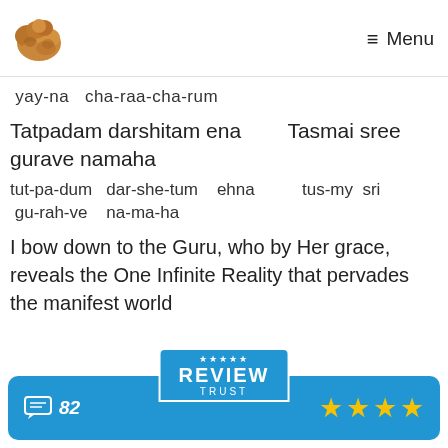Menu
yay-na  cha-raa-cha-rum
Tatpadam darshitam ena        Tasmai sree gurave namaha
tut-pa-dum  dar-she-tum   ehna          tus-my  sri  gu-rah-ve   na-ma-ha
I bow down to the Guru, who by Her grace, reveals the One Infinite Reality that pervades the manifest world
[Figure (other): Review Trust badge bar with comment count 82 and 4 stars rating]